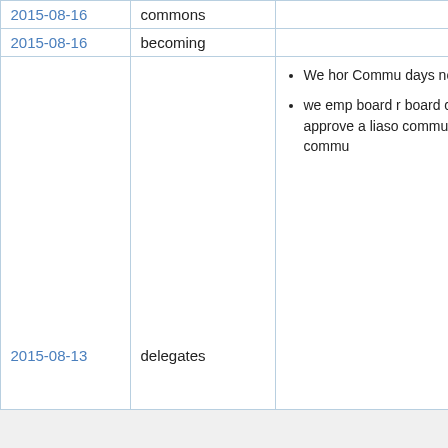| (left col) | Date | Keyword | Notes |
| --- | --- | --- | --- |
|  | 2015-08-16 | commons |  |
|  | 2015-08-16 | becoming |  |
|  | 2015-08-13 | delegates | • We hor Commu days no let then out at th august
• we emp board r board c and any who's b approve a liaso commu with ou lawyers our law commu |